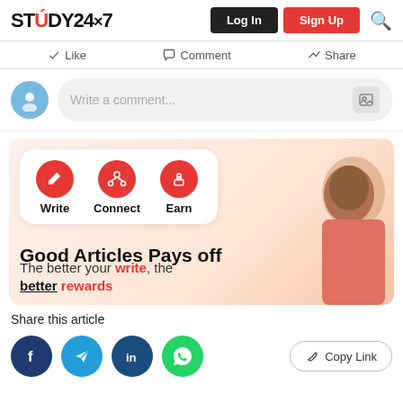STUDY24x7 | Log In | Sign Up
Like  Comment  Share
Write a comment...
[Figure (screenshot): Study24x7 promotional banner showing Write, Connect, Earn icons and text 'Good Articles Pays off - The better your write, the better rewards' with a woman in a red dress]
Share this article
Facebook, Telegram, LinkedIn, WhatsApp social share buttons and Copy Link button